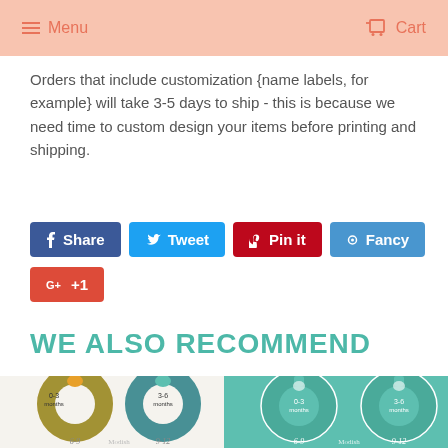Menu  Cart
Orders that include customization {name labels, for example} will take 3-5 days to ship - this is because we need time to custom design your items before printing and shipping.
Share  Tweet  Pin it  Fancy  G+ +1
WE ALSO RECOMMEND
[Figure (photo): Two product images showing closet dividers - left pair showing colorful tribal/chevron patterned dividers labeled 0-3 months, 3-6 months, 6-9, 9-12; right pair showing teal blank circle dividers labeled 0-3 months, 3-6 months, 6-9, 9-12 with Modish branding]